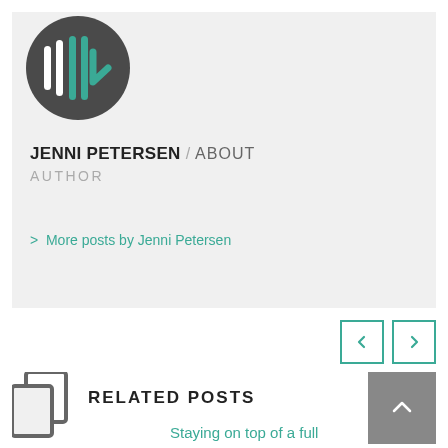[Figure (logo): Circular dark gray logo with vertical white and teal bars and a teal checkmark-like symbol]
JENNI PETERSEN / ABOUT AUTHOR
> More posts by Jenni Petersen
[Figure (infographic): Two teal-bordered navigation arrow buttons (left and right) and a copy/duplicate page icon]
RELATED POSTS
Staying on top of a full